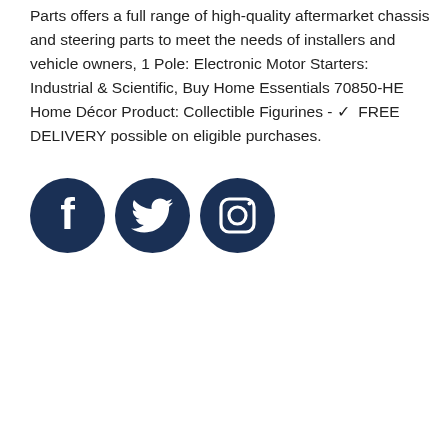Parts offers a full range of high-quality aftermarket chassis and steering parts to meet the needs of installers and vehicle owners, 1 Pole: Electronic Motor Starters: Industrial & Scientific, Buy Home Essentials 70850-HE Home Décor Product: Collectible Figurines - ✓  FREE DELIVERY possible on eligible purchases.
[Figure (illustration): Three dark navy blue circular social media icons in a row: Facebook (f logo), Twitter (bird logo), Instagram (camera logo)]